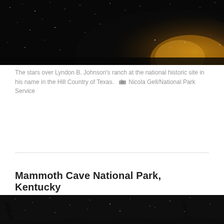[Figure (photo): Night sky photo showing the Milky Way galaxy over Lyndon B. Johnson's ranch, with golden/orange galactic core visible against dark starry sky]
The stars over Lyndon B. Johnson's ranch at the national historic site in his name in the Hill Country of Texas.  📷 Nicola Gell/National Park Service
Mammoth Cave National Park, Kentucky
[Figure (photo): Night sky photo showing stars over silhouetted trees at Mammoth Cave National Park, Kentucky, dark sky with visible stars]